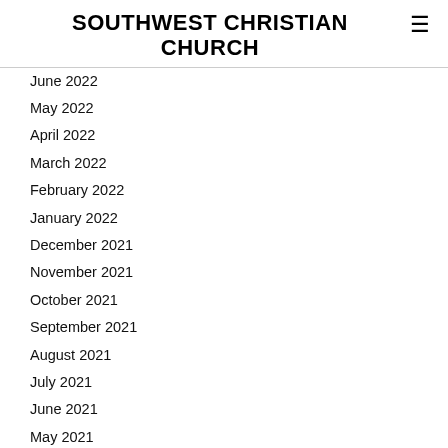SOUTHWEST CHRISTIAN CHURCH
June 2022
May 2022
April 2022
March 2022
February 2022
January 2022
December 2021
November 2021
October 2021
September 2021
August 2021
July 2021
June 2021
May 2021
April 2021
March 2021